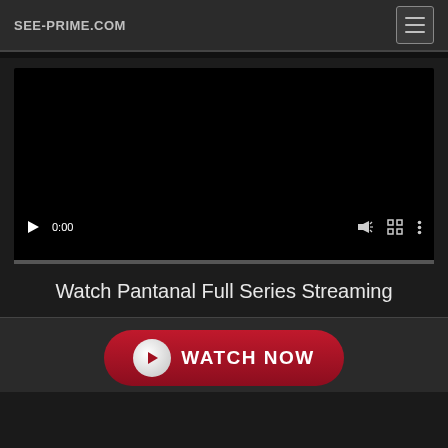SEE-PRIME.COM
[Figure (screenshot): Embedded video player showing black screen with play button controls at bottom: play icon, 0:00 timestamp, volume icon, fullscreen icon, options icon, and a progress bar.]
Watch Pantanal Full Series Streaming
[Figure (screenshot): A dark red Watch Now button with a white play circle icon on the left and 'WATCH NOW' text in white capital letters.]